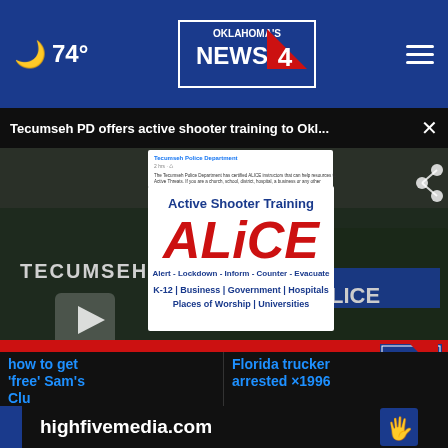74° Oklahoma's News 4
Tecumseh PD offers active shooter training to Okl... ×
[Figure (screenshot): News broadcast screenshot showing Tecumseh police car with ALICE Active Shooter Training flyer overlay and lower-third banner reading LOCAL POLICE DEPARTMENT OFFERING ACTIVE SHOOTER TRAINING]
how to get 'free' Sam's Club me
Florida trucker arrested ×1996
highfivemedia.com